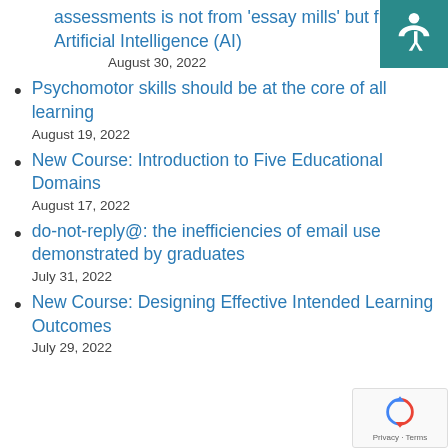assessments is not from 'essay mills' but from Artificial Intelligence (AI)
August 30, 2022
Psychomotor skills should be at the core of all learning
August 19, 2022
New Course: Introduction to Five Educational Domains
August 17, 2022
do-not-reply@: the inefficiencies of email use demonstrated by graduates
July 31, 2022
New Course: Designing Effective Intended Learning Outcomes
July 29, 2022